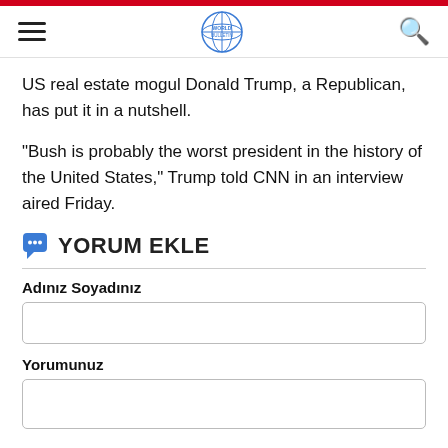World Bulletin — navigation bar with hamburger menu, logo, and search icon
US real estate mogul Donald Trump, a Republican, has put it in a nutshell.
"Bush is probably the worst president in the history of the United States," Trump told CNN in an interview aired Friday.
YORUM EKLE
Adınız Soyadınız
Yorumunuz